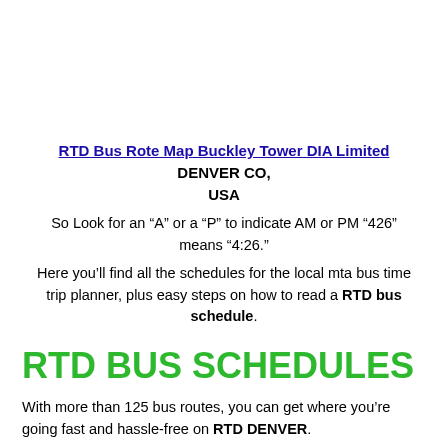RTD Bus Rote Map Buckley Tower DIA Limited DENVER CO, USA
So Look for an “A” or a “P” to indicate AM or PM “426” means “4:26.”
Here you’ll find all the schedules for the local mta bus time trip planner, plus easy steps on how to read a RTD bus schedule.
RTD BUS SCHEDULES
With more than 125 bus routes, you can get where you’re going fast and hassle-free on RTD DENVER.
Here you’ll find all the bus schedules Local Regional Get to DIA with SkyRide FARES Get more details about bus fares.